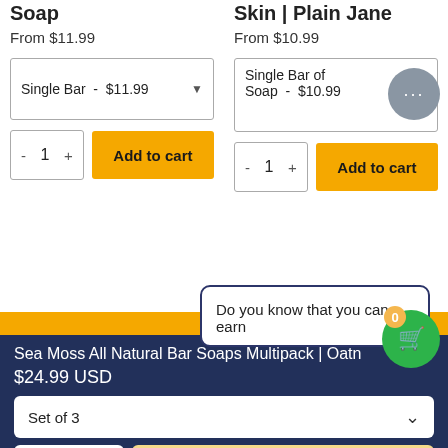Soap
From $11.99
Single Bar - $11.99
1
Add to cart
Skin | Plain Jane
From $10.99
Single Bar of Soap - $10.99
1
Add to cart
Do you know that you can earn
Sea Moss All Natural Bar Soaps Multipack | Oatn
$24.99 USD
Set of 3
1
Add To Cart